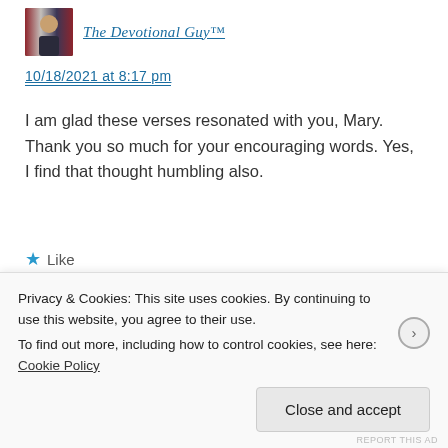[Figure (photo): Avatar image of The Devotional Guy with flag background]
The Devotional Guy™
10/18/2021 at 8:17 pm
I am glad these verses resonated with you, Mary. Thank you so much for your encouraging words. Yes, I find that thought humbling also.
★ Like
[Figure (photo): Avatar image of Gary Fultz]
Gary Fultz
Privacy & Cookies: This site uses cookies. By continuing to use this website, you agree to their use.
To find out more, including how to control cookies, see here: Cookie Policy
Close and accept